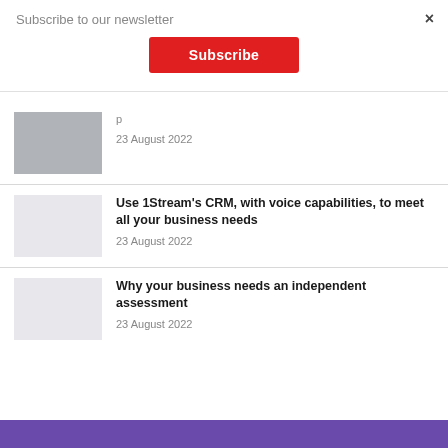Subscribe to our newsletter
×
Subscribe
23 August 2022
Use 1Stream's CRM, with voice capabilities, to meet all your business needs
23 August 2022
Why your business needs an independent assessment
23 August 2022